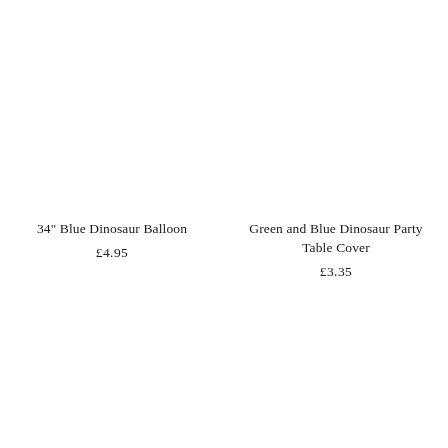34" Blue Dinosaur Balloon
£4.95
Green and Blue Dinosaur Party Table Cover
£3.35